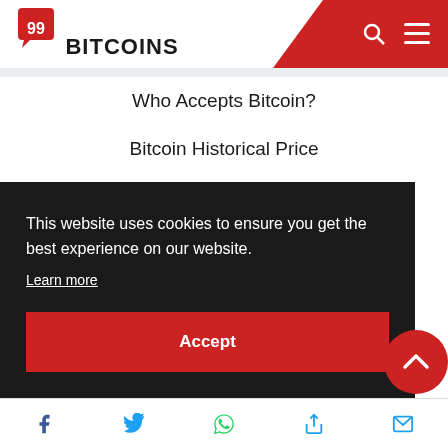[Figure (logo): 99Bitcoins logo with red speech bubble icon and bold text]
Who Accepts Bitcoin?
Bitcoin Historical Price
Dead Coins
Guides and Tutorials
This website uses cookies to ensure you get the best experience on our website.
Learn more
Accept